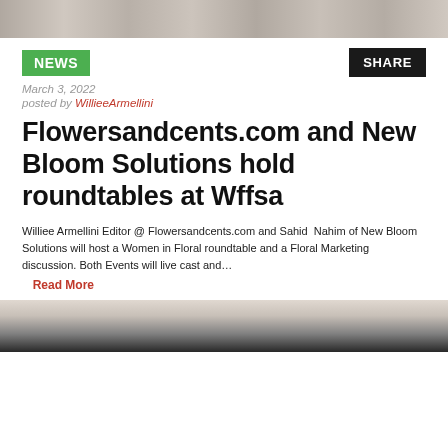[Figure (photo): Top cropped group photo banner]
NEWS
SHARE
March 3, 2022
posted by WillieeArmellini
Flowersandcents.com and New Bloom Solutions hold roundtables at Wffsa
Williee Armellini Editor @ Flowersandcents.com and Sahid Nahim of New Bloom Solutions will host a Women in Floral roundtable and a Floral Marketing discussion. Both Events will live cast and…
Read More
[Figure (photo): Bottom cropped portrait photo]